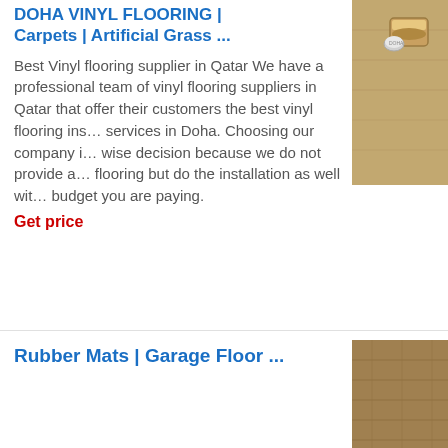DOHA VINYL FLOORING | Carpets | Artificial Grass ...
[Figure (photo): Photo of vinyl flooring product with a small container/tin on a wooden floor surface, cropped top-right of card]
Best Vinyl flooring supplier in Qatar We have a professional team of vinyl flooring suppliers in Qatar that offer their customers the best vinyl flooring installation services in Doha. Choosing our company is a wise decision because we do not provide a flooring but do the installation as well with the budget you are paying.
Get price
Rubber Mats | Garage Floor ...
[Figure (photo): Photo of rubber mat or garage floor material, shown bottom-right]